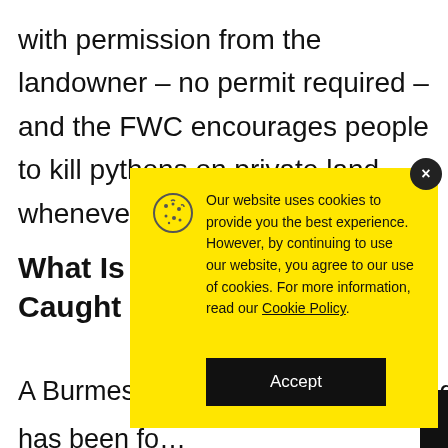with permission from the landowner – no permit required – and the FWC encourages people to kill pythons on private land whenever possible.
What Is T… Caught I…
A Burmese p… has been fo… the massive catch has been caught on camera
[Figure (screenshot): Cookie consent popup with yellow background. Contains cookie icon, text reading 'Our website uses cookies to provide you the best experience. However, by continuing to use our website, you agree to our use of cookies. For more information, read our Cookie Policy.' and an Accept button. A dark close (×) button appears at top right of the popup.]